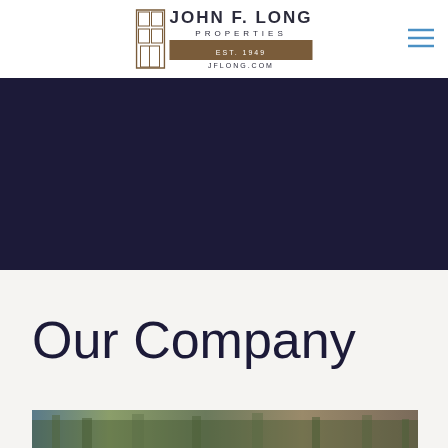John F. Long Properties — EST. 1949 — JFLONG.COM
[Figure (other): Dark navy full-width banner image area]
Our Company
[Figure (photo): Outdoor landscape photo strip at bottom of page]